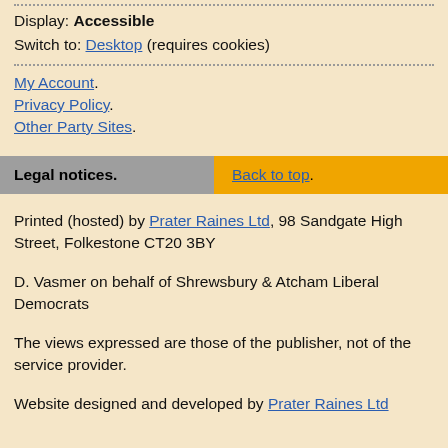Display: Accessible
Switch to: Desktop (requires cookies)
My Account.
Privacy Policy.
Other Party Sites.
Legal notices.   Back to top.
Printed (hosted) by Prater Raines Ltd, 98 Sandgate High Street, Folkestone CT20 3BY
D. Vasmer on behalf of Shrewsbury & Atcham Liberal Democrats
The views expressed are those of the publisher, not of the service provider.
Website designed and developed by Prater Raines Ltd